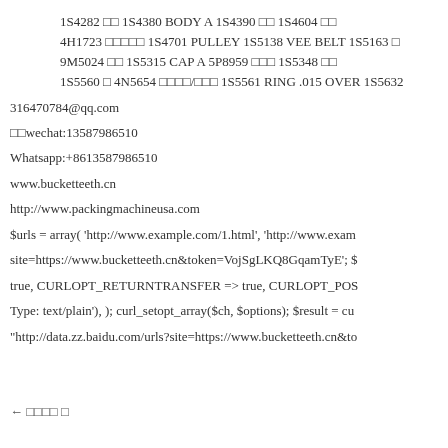1S4282 □□ 1S4380 BODY A 1S4390 □□ 1S4604 □□ 4H1723 □□□□□ 1S4701 PULLEY 1S5138 VEE BELT 1S5163 □ 9M5024 □□ 1S5315 CAP A 5P8959 □□□ 1S5348 □□ 1S5560 □ 4N5654 □□□□/□□□ 1S5561 RING .015 OVER 1S5632
316470784@qq.com
□□wechat:13587986510
Whatsapp:+8613587986510
www.bucketteeth.cn
http://www.packingmachineusa.com
$urls = array( 'http://www.example.com/1.html', 'http://www.exam
site=https://www.bucketteeth.cn&token=VojSgLKQ8GqamTyE'; $
true, CURLOPT_RETURNTRANSFER => true, CURLOPT_POS
Type: text/plain'), ); curl_setopt_array($ch, $options); $result = cu
"http://data.zz.baidu.com/urls?site=https://www.bucketteeth.cn&to
← □□□□ □